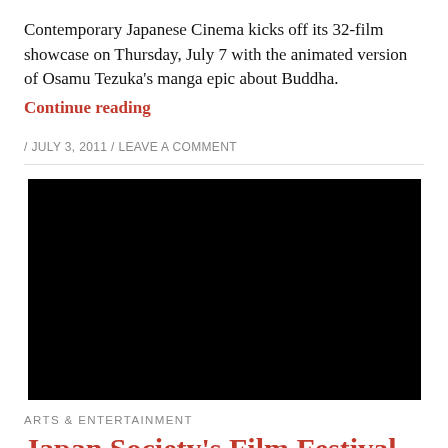Contemporary Japanese Cinema kicks off its 32-film showcase on Thursday, July 7 with the animated version of Osamu Tezuka’s manga epic about Buddha.
Continue reading
/ JULY 3, 2011 / LEAVE A COMMENT
[Figure (photo): Large black rectangle representing a video or image placeholder]
ARTS & ENTERTAINMENT
Japan Society's Film Festival to